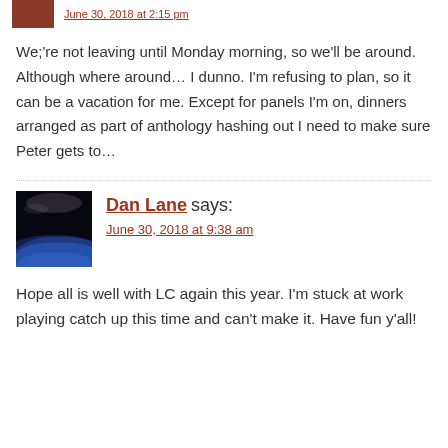June 30, 2018 at 2:15 pm
We;'re not leaving until Monday morning, so we'll be around. Although where around… I dunno. I'm refusing to plan, so it can be a vacation for me. Except for panels I'm on, dinners arranged as part of anthology hashing out I need to make sure Peter gets to…
Dan Lane says:
June 30, 2018 at 9:38 am
Hope all is well with LC again this year. I'm stuck at work playing catch up this time and can't make it. Have fun y'all!